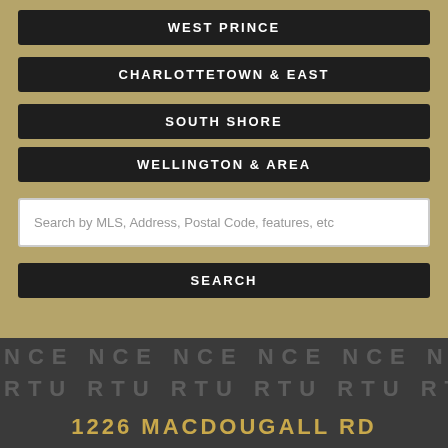WEST PRINCE
CHARLOTTETOWN & EAST
SOUTH SHORE
WELLINGTON & AREA
Search by MLS, Address, Postal Code, features, etc
SEARCH
NCE NCE NCE NCE NCE
RTU RTU RTU RTU RTU
1226 MACDOUGALL RD